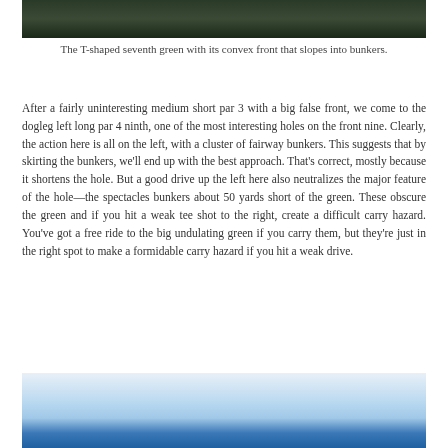[Figure (photo): Top portion of a golf course image showing a green area with dark foliage]
The T-shaped seventh green with its convex front that slopes into bunkers.
After a fairly uninteresting medium short par 3 with a big false front, we come to the dogleg left long par 4 ninth, one of the most interesting holes on the front nine. Clearly, the action here is all on the left, with a cluster of fairway bunkers. This suggests that by skirting the bunkers, we'll end up with the best approach. That's correct, mostly because it shortens the hole. But a good drive up the left here also neutralizes the major feature of the hole—the spectacles bunkers about 50 yards short of the green. These obscure the green and if you hit a weak tee shot to the right, create a difficult carry hazard. You've got a free ride to the big undulating green if you carry them, but they're just in the right spot to make a formidable carry hazard if you hit a weak drive.
[Figure (photo): Bottom portion of a golf course image showing sky and fairway with blue sky background]